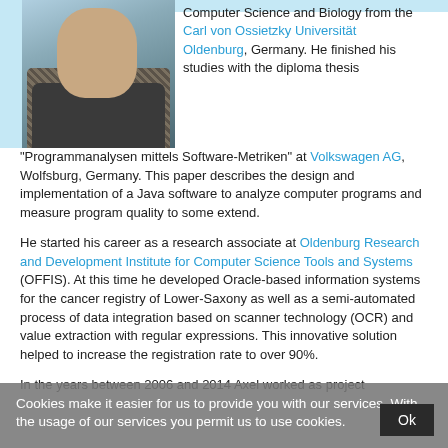[Figure (photo): Headshot photo of a man wearing a patterned jacket and dark shirt, against a light blue background]
Computer Science and Biology from the Carl von Ossietzky Universität Oldenburg, Germany. He finished his studies with the diploma thesis "Programmanalysen mittels Software-Metriken" at Volkswagen AG, Wolfsburg, Germany. This paper describes the design and implementation of a Java software to analyze computer programs and measure program quality to some extend.
He started his career as a research associate at Oldenburg Research and Development Institute for Computer Science Tools and Systems (OFFIS). At this time he developed Oracle-based information systems for the cancer registry of Lower-Saxony as well as a semi-automated process of data integration based on scanner technology (OCR) and value extraction with regular expressions. This innovative solution helped to increase the registration rate to over 90%.
In the years between 2006 and 2014 Axel worked as project
Cookies make it easier for us to provide you with our services. With the usage of our services you permit us to use cookies.